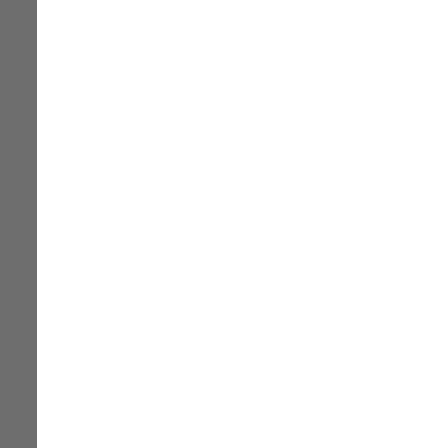Pittsburgh Sleep Q...
The Effects of Void...
Assessment of Pre... Factors in Kerman...
New Independent T... Chronic Prostatitis/...
Wilms' Tumor with... Diagnosis and Trea...
Effects of Inactive V... in Patients on Hemo...
Alcohol Consumpt... for Males' Fertility
A Rare Case of Ura...